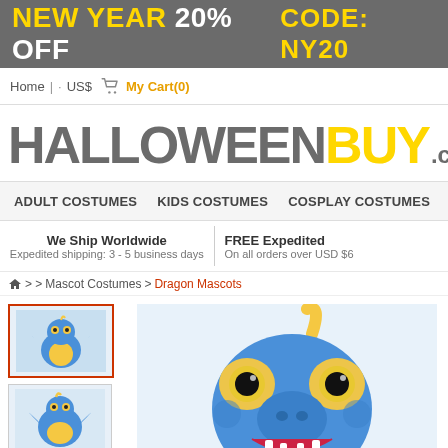NEW YEAR 20% OFF   CODE: NY20
Home | · US$ 🛒 My Cart(0)
HALLOWEENBUY.com
ADULT COSTUMES   KIDS COSTUMES   COSPLAY COSTUMES
We Ship Worldwide
Expedited shipping: 3 - 5 business days
FREE Expedited
On all orders over USD $6
🏠 > > Mascot Costumes > Dragon Mascots
[Figure (photo): Blue dragon mascot costume thumbnail with yellow belly and wings - selected view]
[Figure (photo): Blue dragon mascot costume second thumbnail view]
[Figure (photo): Large close-up image of blue dragon mascot costume head with yellow horns, large yellow-rimmed eyes, and open mouth showing teeth]